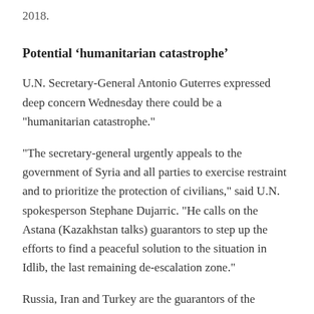2018.
Potential ‘humanitarian catastrophe’
U.N. Secretary-General Antonio Guterres expressed deep concern Wednesday there could be a "humanitarian catastrophe."
"The secretary-general urgently appeals to the government of Syria and all parties to exercise restraint and to prioritize the protection of civilians," said U.N. spokesperson Stephane Dujarric. "He calls on the Astana (Kazakhstan talks) guarantors to step up the efforts to find a peaceful solution to the situation in Idlib, the last remaining de-escalation zone."
Russia, Iran and Turkey are the guarantors of the